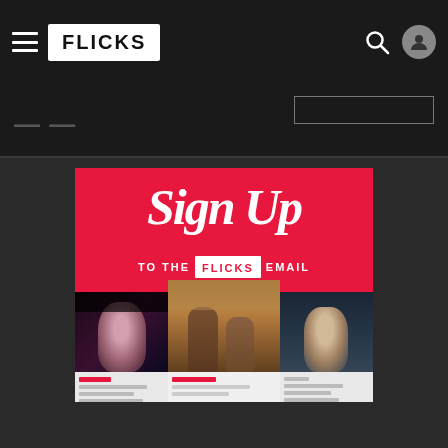FLICKS — navigation bar with hamburger menu, logo, search icon, and user icon
[Figure (screenshot): Flicks email sign-up promotional banner with 'Sign Up TO THE FLICKS EMAIL' text on red background, with three movie thumbnail images below (Lady Gaga, Dune, James Bond)]